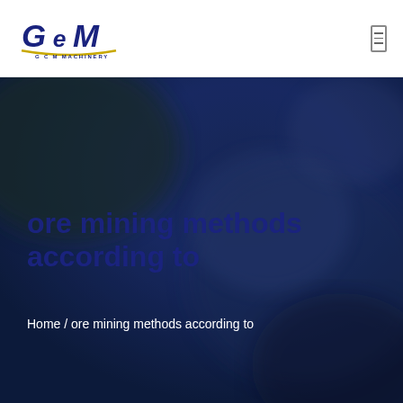GCM MACHINERY
[Figure (photo): Blurred dark blue industrial/mining background image used as hero banner]
ore mining methods according to
Home / ore mining methods according to